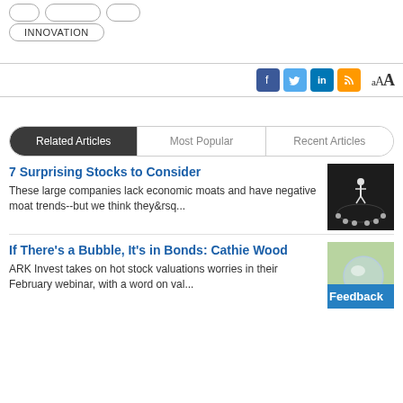INNOVATION
[Figure (screenshot): Social media sharing icons: Facebook, Twitter, LinkedIn, RSS feed, and font size controls (aAA)]
Related Articles | Most Popular | Recent Articles
7 Surprising Stocks to Consider
These large companies lack economic moats and have negative moat trends--but we think they&rsq...
[Figure (photo): Business people forming a circle with one person standing on top]
If There’s a Bubble, It’s in Bonds: Cathie Wood
ARK Invest takes on hot stock valuations worries in their February webinar, with a word on val...
[Figure (photo): Bubble or glass ball with flowers in background]